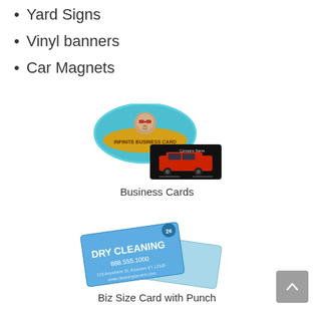Yard Signs
Vinyl banners
Car Magnets
[Figure (illustration): Two overlapping business cards: one oval-shaped with a monkey face design labeled 'Infinite Business Card', and one rectangular black card with a red sports car labeled 'Company Name']
Business Cards
[Figure (illustration): Two overlapping loyalty/punch cards with blue dry cleaning theme. Front card reads 'DRY CLEANING 888.555.1000' and back card shows a punch grid with numbers 3,4,7 and FREE]
Biz Size Card with Punch